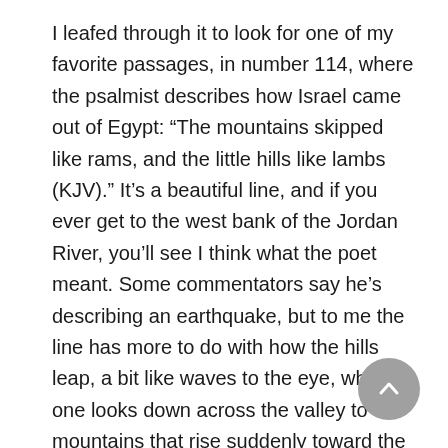I leafed through it to look for one of my favorite passages, in number 114, where the psalmist describes how Israel came out of Egypt: “The mountains skipped like rams, and the little hills like lambs (KJV).” It’s a beautiful line, and if you ever get to the west bank of the Jordan River, you’ll see I think what the poet meant. Some commentators say he’s describing an earthquake, but to me the line has more to do with how the hills leap, a bit like waves to the eye, when one looks down across the valley to the mountains that rise suddenly toward the east. Coming from the other direction on the long road from Egypt would surely have left a powerful sense of the land’s exuberance in Israel’s shepherds and their flocks.
The other book she gave me was “Zen Shorts” by Jon J. Muth. This one is illustrated with beautiful watercolors, and is about a panda who lives next door to a little girl